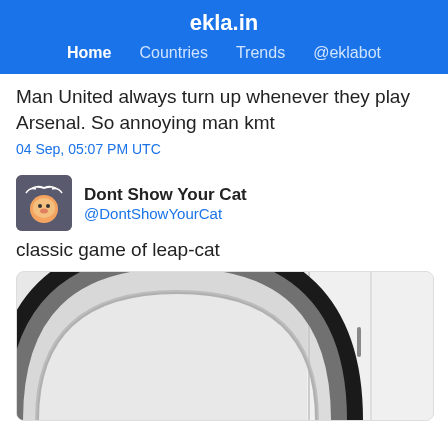ekla.in
Home  Countries  Trends  @eklabot
Man United always turn up whenever they play Arsenal. So annoying man kmt
04 Sep, 05:07 PM UTC
Dont Show Your Cat
@DontShowYourCat
classic game of leap-cat
[Figure (photo): Photo of a dark circular cat tunnel against a white wall/cabinet background]